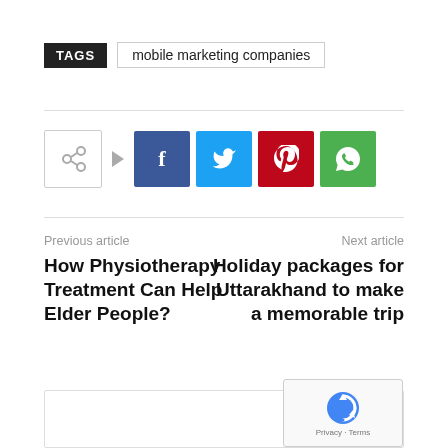TAGS   mobile marketing companies
[Figure (infographic): Social share buttons row: share icon box with arrow, then Facebook (f), Twitter (bird), Pinterest (p), WhatsApp (phone) buttons]
Previous article
How Physiotherapy Treatment Can Help Elder People?
Next article
Holiday packages for Uttarakhand to make a memorable trip
[Figure (other): reCAPTCHA privacy badge with logo, Privacy and Terms links]